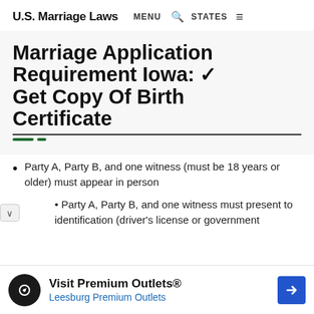U.S. Marriage Laws   MENU   🔍   STATES   ≡
Marriage Application Requirement Iowa: ✓ Get Copy Of Birth Certificate
Party A, Party B, and one witness (must be 18 years or older) must appear in person
Party A, Party B, and one witness must present to identification (driver's license or government...
Visit Premium Outlets®  Leesburg Premium Outlets